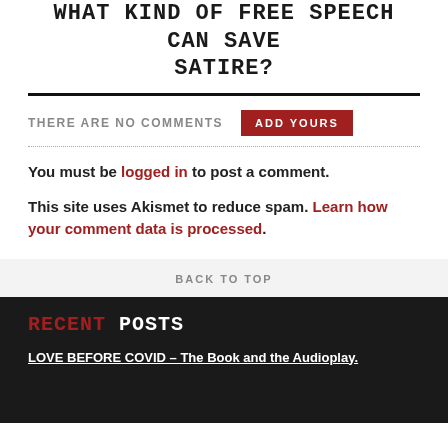WHAT KIND OF FREE SPEECH CAN SAVE SATIRE?
THERE ARE NO COMMENTS
ADD YOURS
You must be logged in to post a comment.
This site uses Akismet to reduce spam. Learn how your comment data is processed.
BACK TO TOP
RECENT POSTS
LOVE BEFORE COVID – The Book and the Audioplay.